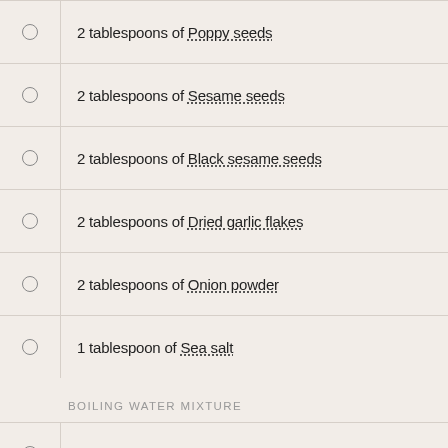2 tablespoons of Poppy seeds
2 tablespoons of Sesame seeds
2 tablespoons of Black sesame seeds
2 tablespoons of Dried garlic flakes
2 tablespoons of Onion powder
1 tablespoon of Sea salt
BOILING WATER MIXTURE
1 liter of Water